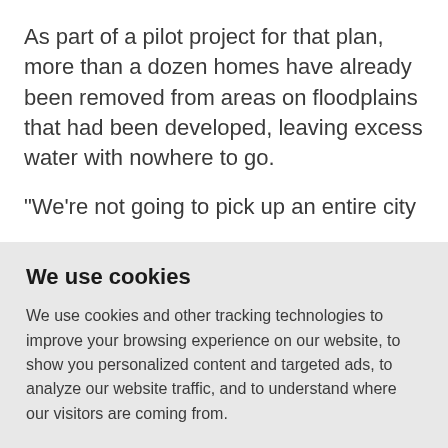As part of a pilot project for that plan, more than a dozen homes have already been removed from areas on floodplains that had been developed, leaving excess water with nowhere to go.
"We're not going to pick up an entire city
We use cookies
We use cookies and other tracking technologies to improve your browsing experience on our website, to show you personalized content and targeted ads, to analyze our website traffic, and to understand where our visitors are coming from.